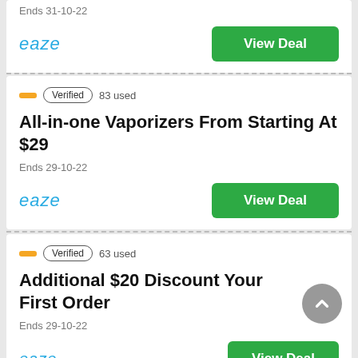Ends 31-10-22
[Figure (logo): eaze logo in blue cursive italic]
View Deal
Verified   83 used
All-in-one Vaporizers From Starting At $29
Ends 29-10-22
[Figure (logo): eaze logo in blue cursive italic]
View Deal
Verified   63 used
Additional $20 Discount Your First Order
Ends 29-10-22
[Figure (logo): eaze logo in blue cursive italic]
View Deal